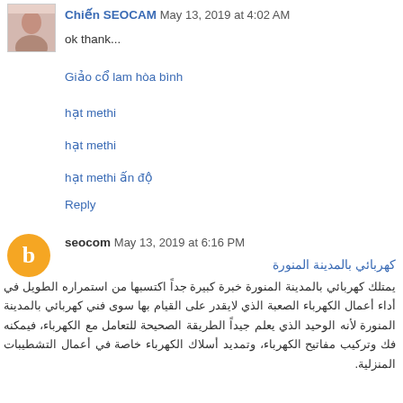[Figure (photo): User avatar photo of a young woman]
Chiến SEOCAM May 13, 2019 at 4:02 AM
ok thank...
Giảo cổ lam hòa bình
hạt methi
hạt methi
hạt methi ấn độ
Reply
[Figure (logo): Orange circle blogger icon with letter b]
seocom May 13, 2019 at 6:16 PM
كهربائي بالمدينة المنورة
يمتلك كهربائي بالمدينة المنورة خبرة كبيرة جداً اكتسبها من استمراره الطويل في أداء أعمال الكهرباء الصعبة الذي لايقدر على القيام بها سوى فني كهربائي بالمدينة المنورة لأنه الوحيد الذي يعلم جيداً الطريقة الصحيحة للتعامل مع الكهرباء، فيمكنه فك وتركيب مفاتيح الكهرباء، وتمديد أسلاك الكهرباء خاصة في أعمال التشطيبات المنزلية.